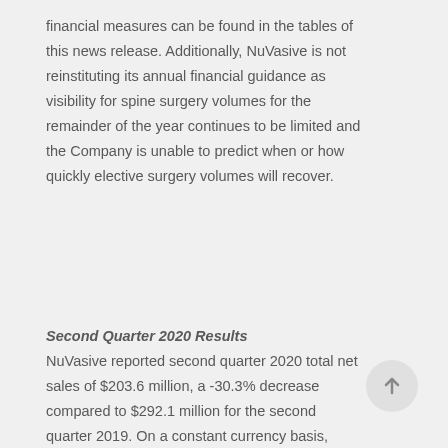financial measures can be found in the tables of this news release. Additionally, NuVasive is not reinstituting its annual financial guidance as visibility for spine surgery volumes for the remainder of the year continues to be limited and the Company is unable to predict when or how quickly elective surgery volumes will recover.
Second Quarter 2020 Results
NuVasive reported second quarter 2020 total net sales of $203.6 million, a -30.3% decrease compared to $292.1 million for the second quarter 2019. On a constant currency basis, second quarter 2020 total net sales decreased -30.2% compared to the same period last year.